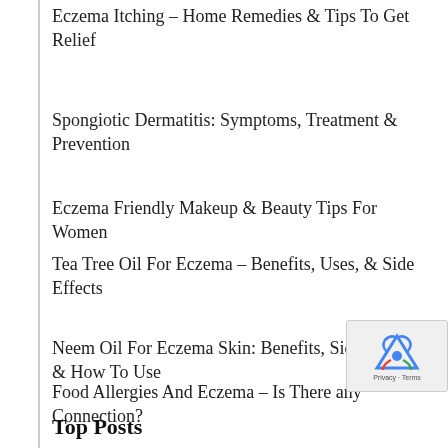Eczema Itching – Home Remedies & Tips To Get Relief
Spongiotic Dermatitis: Symptoms, Treatment & Prevention
Eczema Friendly Makeup & Beauty Tips For Women
Tea Tree Oil For Eczema – Benefits, Uses, & Side Effects
Neem Oil For Eczema Skin: Benefits, Side Effects & How To Use
Food Allergies And Eczema – Is There any Connection?
Top Posts